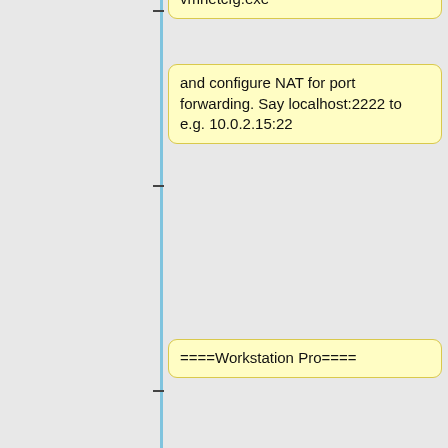vmnetcfg.exe
and configure NAT for port forwarding. Say localhost:2222 to e.g. 10.0.2.15:22
====Workstation Pro====
====Login from Terminal program====
====Login from Terminal program====
At this point you can login to your server from your host machine using SSH (non secure telnet and FTP are not allowed but
At this point you can login to your server from your host machine using SSH (non secure telnet and FTP are not allowed but